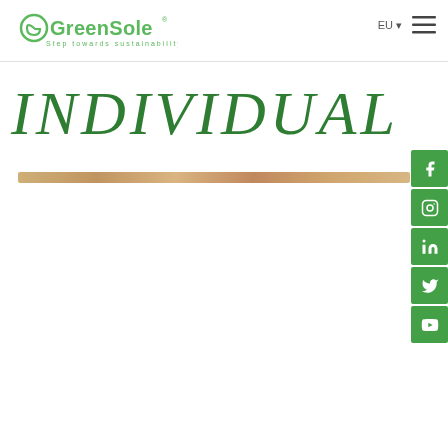[Figure (logo): GreenSole logo with text 'Step towards sustainability' in green]
INDIVIDUAL
[Figure (illustration): Decorative horizontal brown/tan textured bar]
[Figure (infographic): Green social media icon buttons on right side: Facebook, Instagram, LinkedIn, Twitter, YouTube]